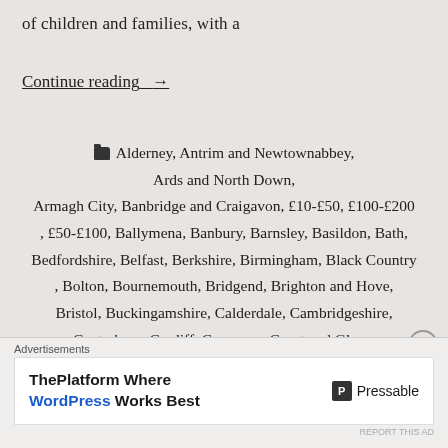of children and families, with a
Continue reading →
📁 Alderney, Antrim and Newtownabbey, Ards and North Down, Armagh City, Banbridge and Craigavon, £10-£50, £100-£200, £50-£100, Ballymena, Banbury, Barnsley, Basildon, Bath, Bedfordshire, Belfast, Berkshire, Birmingham, Black Country, Bolton, Bournemouth, Bridgend, Brighton and Hove, Bristol, Buckingamshire, Calderdale, Cambridgeshire, Canterbury, Cardiff, Causeway Coast and Glens, Channel Islands, Chelmsford, Cheshire, Children & Young People, Colchester, Cornwall, County Durham, Cumbria, Darlington, Derbyshire, Derry City and Strabane, Devon, Dorset, Dundee, Durham
Advertisements
ThePlatform Where WordPress Works Best   Pressable